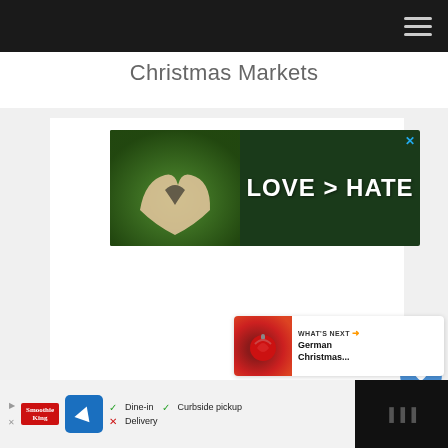Christmas Markets
[Figure (photo): Advertisement banner showing hands forming a heart shape against green background with text LOVE > HATE and a close button]
[Figure (infographic): WHAT'S NEXT panel showing German Christmas... with thumbnail of Christmas ornament]
[Figure (infographic): Bottom advertisement bar for Smoothie King showing Dine-in with checkmark, Curbside pickup with checkmark, Delivery with X mark, and navigation/share icons]